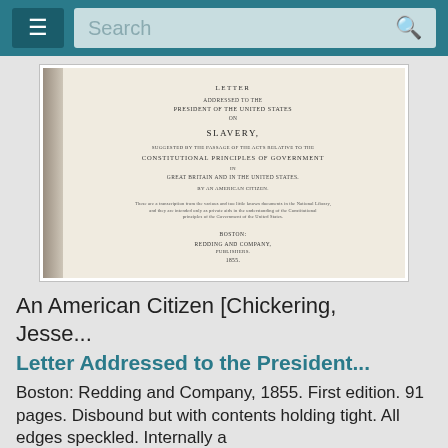☰  Search  🔍
[Figure (photo): Scan of an antique book title page: 'Letter Addressed to the President of the United States on Slavery, Suggested by the Passage of the Acts Relative to Constitutional Principles of Government in Great Britain and in the United States. By an American Citizen. Boston: Redding and Company, Publishers, 1855.']
An American Citizen [Chickering, Jesse...
Letter Addressed to the President...
Boston: Redding and Company, 1855. First edition. 91 pages. Disbound but with contents holding tight. All edges speckled. Internally a